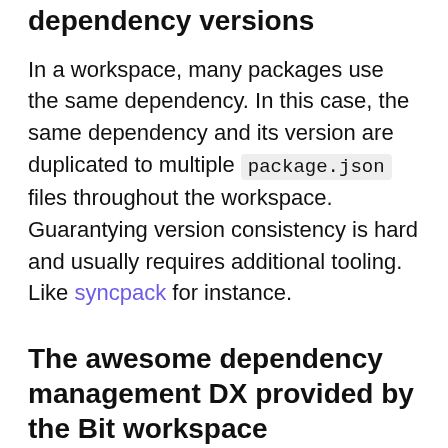dependency versions
In a workspace, many packages use the same dependency. In this case, the same dependency and its version are duplicated to multiple package.json files throughout the workspace. Guarantying version consistency is hard and usually requires additional tooling. Like syncpack for instance.
The awesome dependency management DX provided by the Bit workspace